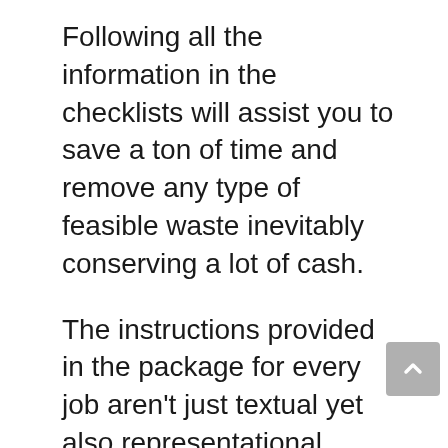Following all the information in the checklists will assist you to save a ton of time and remove any type of feasible waste inevitably conserving a lot of cash.
The instructions provided in the package for every job aren't just textual yet also representational. Diagrammatic representation of how the components should be signed up with, curved, and attached makes it a complete and tidy process to develop the timber task.
The documents are thoughtfully made to provide a much better understanding of the project as well as the easy execution of the woodworking strategy.